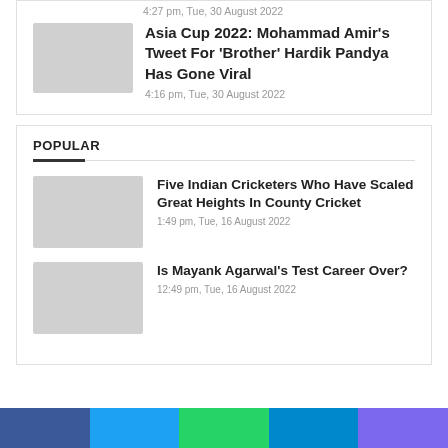4:27 pm, Tue, 30 August 2022
Asia Cup 2022: Mohammad Amir's Tweet For ‘Brother’ Hardik Pandya Has Gone Viral
4:16 pm, Tue, 30 August 2022
POPULAR
Five Indian Cricketers Who Have Scaled Great Heights In County Cricket
1:49 pm, Tue, 16 August 2022
Is Mayank Agarwal’s Test Career Over?
12:49 pm, Tue, 16 August 2022